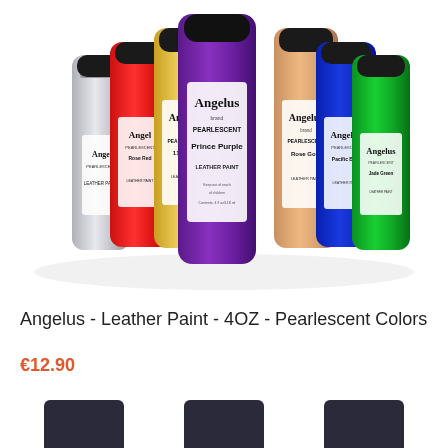[Figure (photo): Multiple bottles of Angelus Pearlescent Leather Paint arranged in a fan/arc pattern. Bottles have black caps and white labels. Colors visible include white/pearl, red, gold (11K Gold), purple (Prince Purple), rose gold, blue (Pacific Blue), and green (Jade Green).]
Angelus - Leather Paint - 4OZ - Pearlescent Colors
€12.90